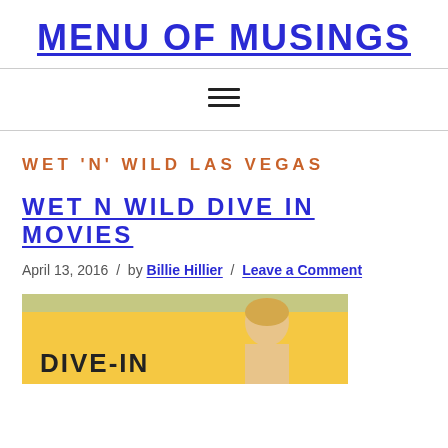MENU OF MUSINGS
WET 'N' WILD LAS VEGAS
WET N WILD DIVE IN MOVIES
April 13, 2016 / by Billie Hillier / Leave a Comment
[Figure (photo): Promotional image for Wet N Wild Dive-In Movies showing a woman and the text DIVE-IN on a yellow background]